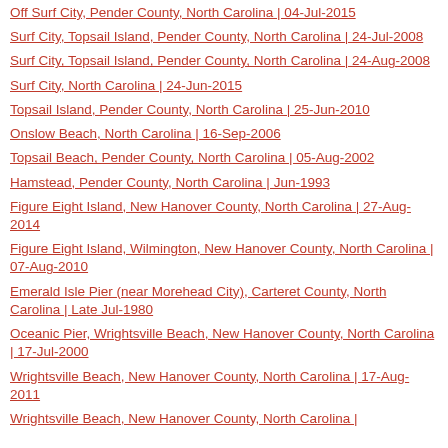Off Surf City, Pender County, North Carolina | 04-Jul-2015
Surf City, Topsail Island, Pender County, North Carolina | 24-Jul-2008
Surf City, Topsail Island, Pender County, North Carolina | 24-Aug-2008
Surf City, North Carolina | 24-Jun-2015
Topsail Island, Pender County, North Carolina | 25-Jun-2010
Onslow Beach, North Carolina | 16-Sep-2006
Topsail Beach, Pender County, North Carolina | 05-Aug-2002
Hamstead, Pender County, North Carolina | Jun-1993
Figure Eight Island, New Hanover County, North Carolina | 27-Aug-2014
Figure Eight Island, Wilmington, New Hanover County, North Carolina | 07-Aug-2010
Emerald Isle Pier (near Morehead City), Carteret County, North Carolina | Late Jul-1980
Oceanic Pier, Wrightsville Beach, New Hanover County, North Carolina | 17-Jul-2000
Wrightsville Beach, New Hanover County, North Carolina | 17-Aug-2011
Wrightsville Beach, New Hanover County, North Carolina |